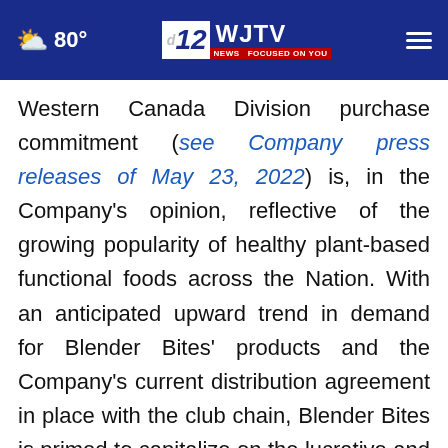80° | 12 WJTV NEWS FOCUSED ON YOU
Western Canada Division purchase commitment (see Company press releases of May 23, 2022) is, in the Company's opinion, reflective of the growing popularity of healthy plant-based functional foods across the Nation. With an anticipated upward trend in demand for Blender Bites' products and the Company's current distribution agreement in place with the club chain, Blender Bites is primed to capitalize on the lucrative and rapidly expanding functional and frozen beverages markets.